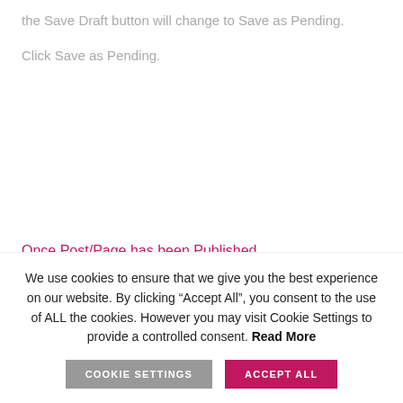the Save Draft button will change to Save as Pending.
Click Save as Pending.
Once Post/Page has been Published
We use cookies to ensure that we give you the best experience on our website. By clicking “Accept All”, you consent to the use of ALL the cookies. However you may visit Cookie Settings to provide a controlled consent. Read More